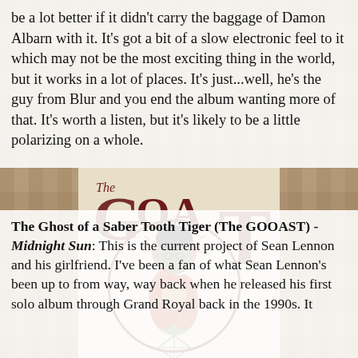be a lot better if it didn't carry the baggage of Damon Albarn with it. It's got a bit of a slow electronic feel to it which may not be the most exciting thing in the world, but it works in a lot of places. It's just...well, he's the guy from Blur and you end the album wanting more of that. It's worth a listen, but it's likely to be a little polarizing on a whole.
[Figure (illustration): Album cover for The Ghost of a Saber Tooth Tiger (The GOOAST) - Midnight Sun, featuring stylized art with two figures - a green-skinned male with glasses and a female with red hair, surrounded by ornate lettering spelling 'The GOAST' and 'Midnight Sun']
The Ghost of a Saber Tooth Tiger (The GOOAST) - Midnight Sun: This is the current project of Sean Lennon and his girlfriend. I've been a fan of what Sean Lennon's been up to from way, way back when he released his first solo album through Grand Royal back in the 1990s. It